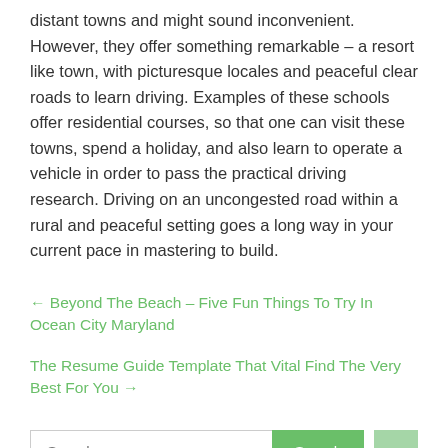distant towns and might sound inconvenient. However, they offer something remarkable – a resort like town, with picturesque locales and peaceful clear roads to learn driving. Examples of these schools offer residential courses, so that one can visit these towns, spend a holiday, and also learn to operate a vehicle in order to pass the practical driving research. Driving on an uncongested road within a rural and peaceful setting goes a long way in your current pace in mastering to build.
← Beyond The Beach – Five Fun Things To Try In Ocean City Maryland
The Resume Guide Template That Vital Find The Very Best For You →